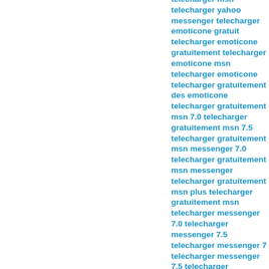telecharger msn telecharger yahoo messenger telecharger emoticone gratuit telecharger emoticone gratuitement telecharger emoticone msn telecharger emoticone telecharger gratuitement des emoticone telecharger gratuitement msn 7.0 telecharger gratuitement msn 7.5 telecharger gratuitement msn messenger 7.0 telecharger gratuitement msn messenger telecharger gratuitement msn plus telecharger gratuitement msn telecharger messenger 7.0 telecharger messenger 7.5 telecharger messenger 7 telecharger messenger 7.5 telecharger messenger plus telecharger messenger telecharger msn 7 gratuitement telecharger msn 7.0 gratuitement